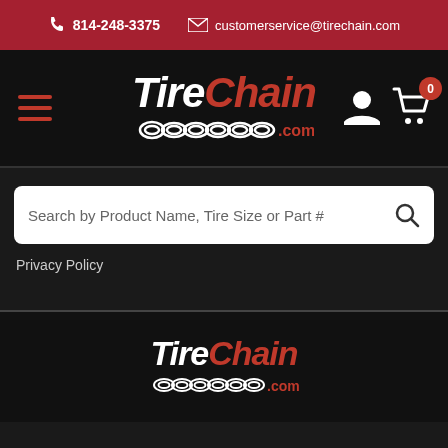814-248-3375  customerservice@tirechain.com
[Figure (logo): TireChain.com logo with navigation bar, hamburger menu, user icon, and cart icon with 0 badge]
[Figure (screenshot): Search bar with placeholder text: Search by Product Name, Tire Size or Part #]
Privacy Policy
[Figure (logo): TireChain.com footer logo]